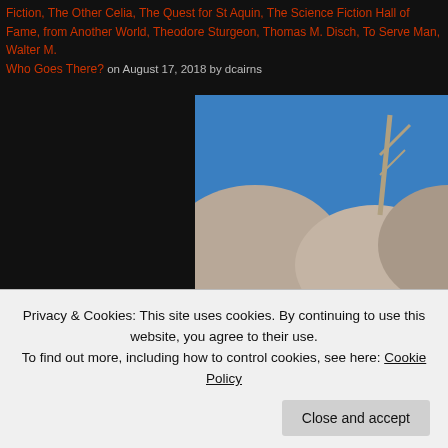Fiction, The Other Celia, The Quest for St Aquin, The Science Fiction Hall of Fame, from Another World, Theodore Sturgeon, Thomas M. Disch, To Serve Man, Walter M. Who Goes There? on August 17, 2018 by dcairns
[Figure (photo): A costumed alien creature standing in a desert landscape with rocky hills and a bare dead tree. The creature wears a reptilian mask with teeth, a patterned chest piece, and dark suit with brown gloves.]
Privacy & Cookies: This site uses cookies. By continuing to use this website, you agree to their use. To find out more, including how to control cookies, see here: Cookie Policy
Close and accept